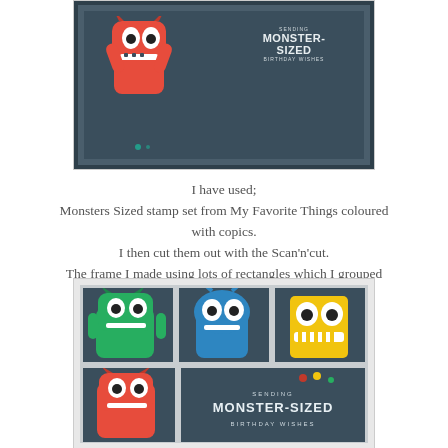[Figure (photo): Close-up of a handmade birthday card showing a red monster on a dark teal background with text 'SENDING MONSTER-SIZED BIRTHDAY WISHES' in white]
I have used;
Monsters Sized stamp set from My Favorite Things coloured with copics.
I then cut them out with the Scan'n'cut.
The frame I made using lots of rectangles which I grouped together in CanvasWorkspace and then cut with the Scan'n'cut.
[Figure (photo): Close-up of a handmade birthday card showing three monster characters (green, blue, yellow) in separate frames on dark teal background, with a bottom row showing a red monster and a text panel reading 'SENDING MONSTER-SIZED BIRTHDAY WISHES']